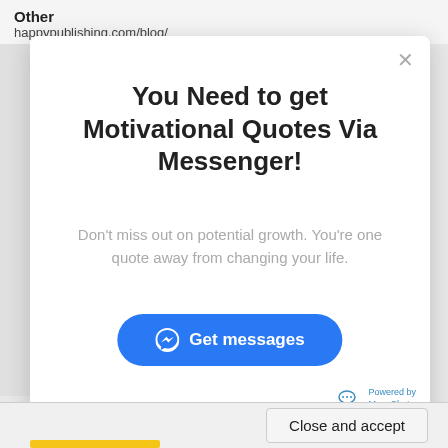Other
happypublishing.com/blog/
You Need to get Motivational Quotes Via Messenger!
Don't miss out on potential growth. You're one quote away from changing your life.
Get messages
Powered by ManyChat
Close and accept